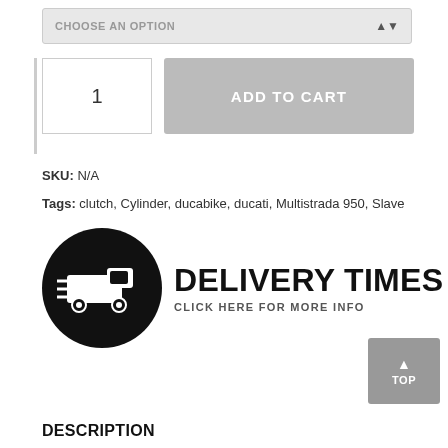CHOOSE AN OPTION
1
ADD TO CART
SKU: N/A
Tags: clutch, Cylinder, ducabike, ducati, Multistrada 950, Slave
[Figure (logo): Delivery Times logo with a van icon in a black circle and bold text DELIVERY TIMES with subtitle CLICK HERE FOR MORE INFO]
TOP
DESCRIPTION